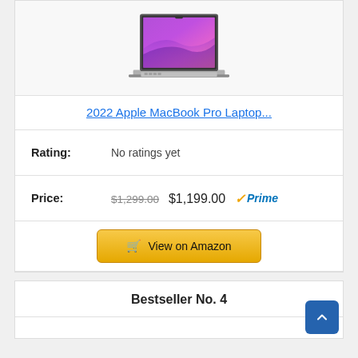[Figure (photo): MacBook Pro laptop product photo showing open laptop with purple/pink macOS wallpaper]
2022 Apple MacBook Pro Laptop...
| Rating: | No ratings yet |
| Price: | $1,299.00  $1,199.00  ✓Prime |
View on Amazon
Bestseller No. 4